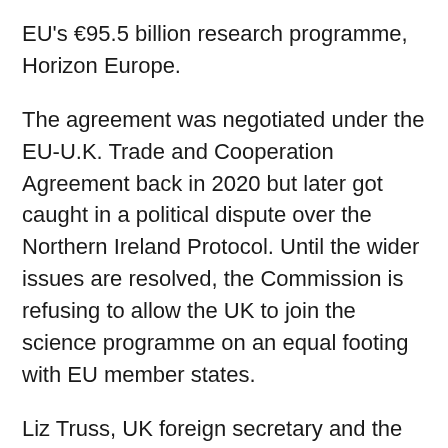EU's €95.5 billion research programme, Horizon Europe.
The agreement was negotiated under the EU-U.K. Trade and Cooperation Agreement back in 2020 but later got caught in a political dispute over the Northern Ireland Protocol. Until the wider issues are resolved, the Commission is refusing to allow the UK to join the science programme on an equal footing with EU member states.
Liz Truss, UK foreign secretary and the favourite to win the ongoing Tory leadership race, launched the formal consultation last night, officially accusing the EU of blocking the UK's access to its science programmes.
“The EU is in clear breach of our agreement, repeatedly seeking to politicise vital scientific cooperation by refusing to finalise access to these important